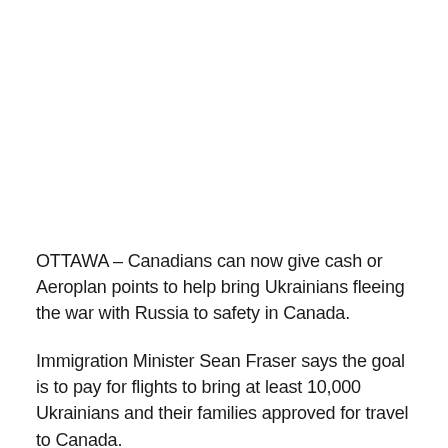OTTAWA – Canadians can now give cash or Aeroplan points to help bring Ukrainians fleeing the war with Russia to safety in Canada.
Immigration Minister Sean Fraser says the goal is to pay for flights to bring at least 10,000 Ukrainians and their families approved for travel to Canada.